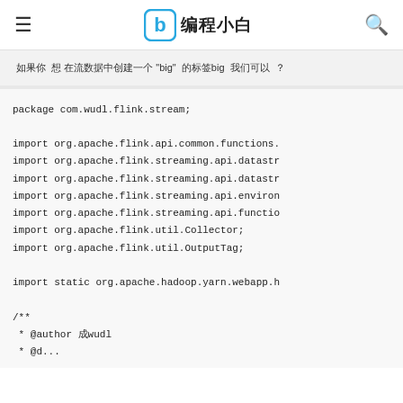≡  b 编程小白  🔍
如果你 想 在流数据中创建一个 "big" 的标签big 我们可以 ？
package com.wudl.flink.stream;

import org.apache.flink.api.common.functions.
import org.apache.flink.streaming.api.datastr
import org.apache.flink.streaming.api.datastr
import org.apache.flink.streaming.api.environ
import org.apache.flink.streaming.api.functio
import org.apache.flink.util.Collector;
import org.apache.flink.util.OutputTag;

import static org.apache.hadoop.yarn.webapp.h

/**
 * @author 吴wudl
 * @d...